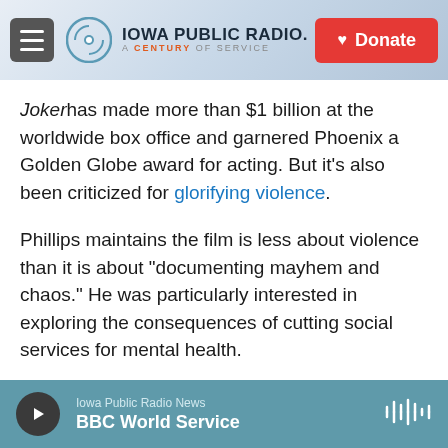Iowa Public Radio — A Century of Service | Donate
Joker has made more than $1 billion at the worldwide box office and garnered Phoenix a Golden Globe award for acting. But it's also been criticized for glorifying violence.
Phillips maintains the film is less about violence than it is about "documenting mayhem and chaos." He was particularly interested in exploring the consequences of cutting social services for mental health.
"We really thought it was important to shine a light on the system," he says. "I think, like a lot of people,
Iowa Public Radio News — BBC World Service